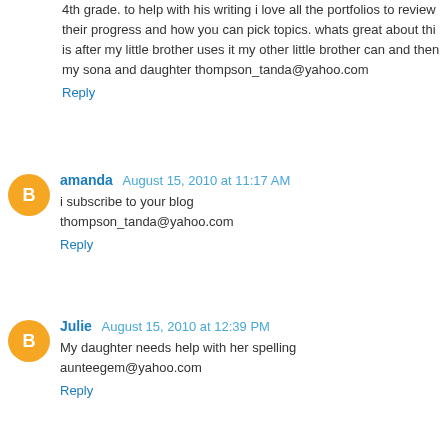4th grade. to help with his writing i love all the portfolios to review their progress and how you can pick topics. whats great about thi is after my little brother uses it my other little brother can and then my sona and daughter thompson_tanda@yahoo.com
Reply
amanda  August 15, 2010 at 11:17 AM
i subscribe to your blog
thompson_tanda@yahoo.com
Reply
Julie  August 15, 2010 at 12:39 PM
My daughter needs help with her spelling
aunteegem@yahoo.com
Reply